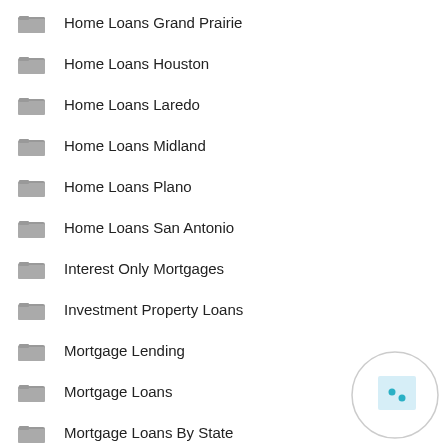Home Loans Grand Prairie
Home Loans Houston
Home Loans Laredo
Home Loans Midland
Home Loans Plano
Home Loans San Antonio
Interest Only Mortgages
Investment Property Loans
Mortgage Lending
Mortgage Loans
Mortgage Loans By State
Mortgage Rates Today
[Figure (illustration): A circular watermark icon with a light blue square containing two small teal dots, positioned at the bottom right of the page]